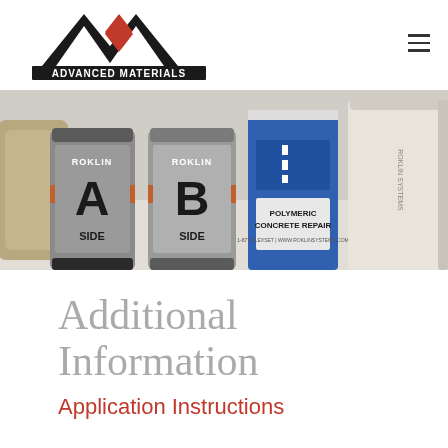ADVANCED MATERIALS
[Figure (photo): Photo of Roklin Systems products including A Side and B Side canisters and a Polymeric Concrete Repair container on a light background]
Additional Information
Application Instructions